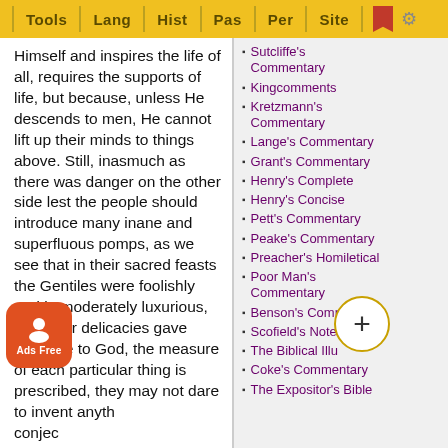Tools | Lang | Hist | Pas | Per | Site
Himself and inspires the life of all, requires the supports of life, but because, unless He descends to men, He cannot lift up their minds to things above. Still, inasmuch as there was danger on the other side lest the people should introduce many inane and superfluous pomps, as we see that in their sacred feasts the Gentiles were foolishly and immoderately luxurious, as if their delicacies gave pleasure to God, the measure of each particular thing is prescribed, they may not dare to invent anyth... conjec... had b...
Sutcliffe's Commentary
Kingcomments
Kretzmann's Commentary
Lange's Commentary
Grant's Commentary
Henry's Complete
Henry's Concise
Pett's Commentary
Peake's Commentary
Preacher's Homiletical
Poor Man's Commentary
Benson's Commentary
Scofield's Notes
The Biblical Illu...
Coke's Commentary
The Expositor's Bible